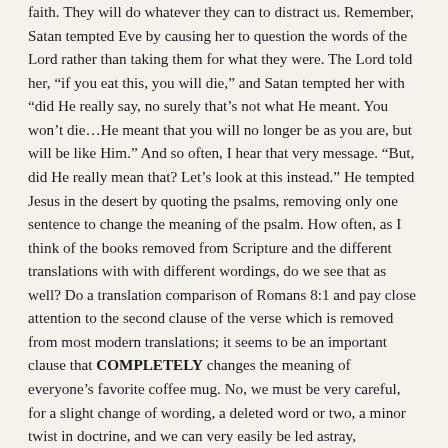faith. They will do whatever they can to distract us. Remember, Satan tempted Eve by causing her to question the words of the Lord rather than taking them for what they were. The Lord told her, “if you eat this, you will die,” and Satan tempted her with “did He really say, no surely that’s not what He meant. You won’t die…He meant that you will no longer be as you are, but will be like Him.” And so often, I hear that very message. “But, did He really mean that? Let’s look at this instead.” He tempted Jesus in the desert by quoting the psalms, removing only one sentence to change the meaning of the psalm. How often, as I think of the books removed from Scripture and the different translations with with different wordings, do we see that as well? Do a translation comparison of Romans 8:1 and pay close attention to the second clause of the verse which is removed from most modern translations; it seems to be an important clause that COMPLETELY changes the meaning of everyone’s favorite coffee mug. No, we must be very careful, for a slight change of wording, a deleted word or two, a minor twist in doctrine, and we can very easily be led astray, especially in an era where we consider our own personal interpretation of a passage to be the ultimate authority. And, relating to this passage,